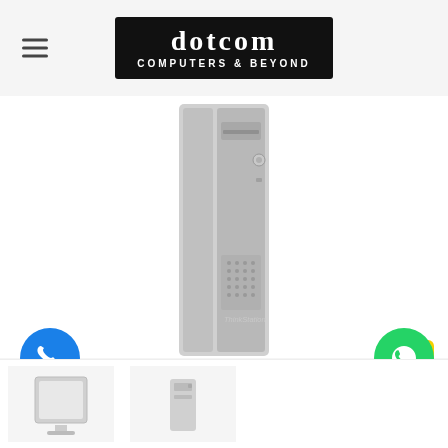dotcom COMPUTERS & BEYOND
[Figure (photo): Lenovo ThinkStation desktop tower computer, tall slim form factor, silver/grey color with ThinkStation logo on front panel]
[Figure (photo): Scroll to top button (yellow square with up chevron arrow)]
[Figure (photo): Phone call button (blue circle with phone handset icon)]
[Figure (photo): WhatsApp button (green circle with WhatsApp chat bubble icon)]
[Figure (photo): Thumbnail of a desktop computer product (bottom left)]
[Figure (photo): Thumbnail of another desktop computer product (bottom center)]